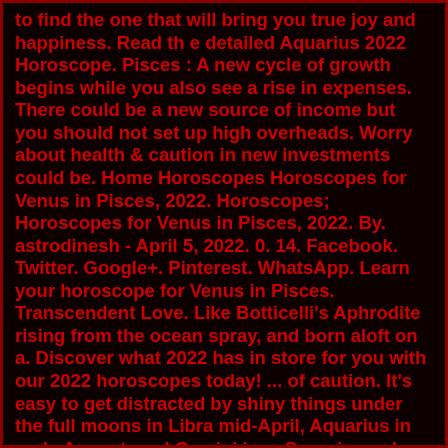to find the one that will bring you true joy and happiness. Read th e detailed Aquarius 2022 Horoscope. Pisces : A new cycle of growth begins while you also see a rise in expenses. There could be a new source of income but you should not set up high overheads. Worry about health & caution in new investments could be. Home Horoscopes Horoscopes for Venus in Pisces, 2022. Horoscopes; Horoscopes for Venus in Pisces, 2022. By. astrodinesh - April 5, 2022. 0. 14. Facebook. Twitter. Google+. Pinterest. WhatsApp. Learn your horoscope for Venus in Pisces. Transcendent Love. Like Botticelli's Aphrodite rising from the ocean spray, and born aloft on a. Discover what 2022 has in store for you with our 2022 horoscopes today! ... of caution. It's easy to get distracted by shiny things under the full moons in Libra mid-April, Aquarius in early August, and Gemini in ... Scorpio, and Pisces . With Neptune partnered with Pisces, the sensitive water sign it rules, all year, your intuition is. Pisces Tarot Horoscopes: April 2022. Meghan Rose. April 1, 2022, 12:00 a.m. · 6 min read. What does your best 2022 look